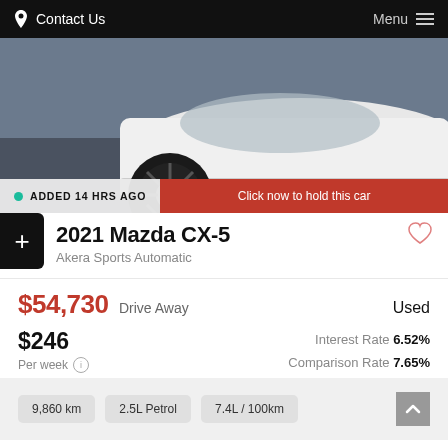Contact Us   Menu
[Figure (photo): Front low-angle photo of a white 2021 Mazda CX-5 showing the front bumper, wheel, and pavement]
ADDED 14 HRS AGO
Click now to hold this car
2021 Mazda CX-5
Akera Sports Automatic
$54,730 Drive Away   Used
$246
Per week
Interest Rate 6.52%
Comparison Rate 7.65%
9,860 km   2.5L Petrol   7.4L / 100km